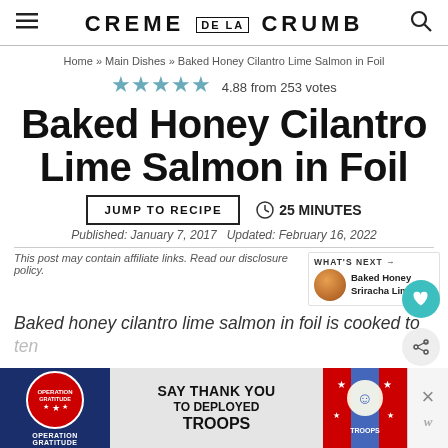CREME DE LA CRUMB
Home » Main Dishes » Baked Honey Cilantro Lime Salmon in Foil
4.88 from 253 votes
Baked Honey Cilantro Lime Salmon in Foil
JUMP TO RECIPE   25 MINUTES
Published: January 7, 2017   Updated: February 16, 2022
This post may contain affiliate links. Read our disclosure policy.
WHAT'S NEXT → Baked Honey Sriracha Lim...
Baked honey cilantro lime salmon in foil is cooked to tender, flaky perfection with the most amazing honey cilantro lime flavors.